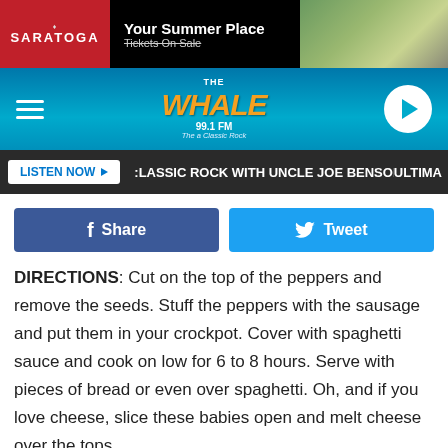[Figure (screenshot): Saratoga 'Your Summer Place - Tickets On Sale' advertisement banner with red logo box and crowd photo]
[Figure (screenshot): The Whale 99.1 FM radio station navigation bar with hamburger menu, station logo, and play button]
[Figure (screenshot): Listen Now bar with CLASSIC ROCK WITH UNCLE JOE BENSON scrolling text and ULTIMA text]
[Figure (screenshot): Facebook Share and Twitter Tweet social sharing buttons]
DIRECTIONS: Cut on the top of the peppers and remove the seeds. Stuff the peppers with the sausage and put them in your crockpot. Cover with spaghetti sauce and cook on low for 6 to 8 hours. Serve with pieces of bread or even over spaghetti. Oh, and if you love cheese, slice these babies open and melt cheese over the tops.
[Figure (photo): Bottom partial photo strip]
[Figure (screenshot): Saratoga 'Your Summer Place - Tickets On Sale' advertisement banner at bottom]